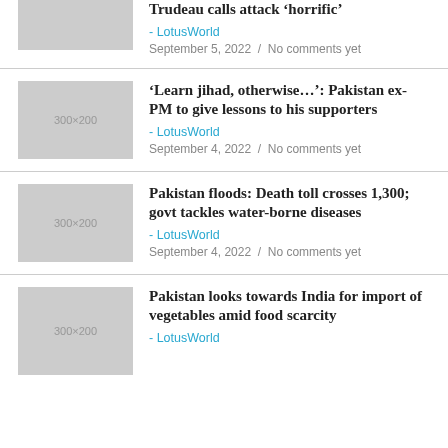[Figure (photo): Placeholder thumbnail image 300x200 for Trudeau article]
Trudeau calls attack ‘horrific’
- LotusWorld
September 5, 2022  /  No comments yet
[Figure (photo): Placeholder thumbnail image 300x200 for Pakistan ex-PM article]
‘Learn jihad, otherwise…’: Pakistan ex-PM to give lessons to his supporters
- LotusWorld
September 4, 2022  /  No comments yet
[Figure (photo): Placeholder thumbnail image 300x200 for Pakistan floods article]
Pakistan floods: Death toll crosses 1,300; govt tackles water-borne diseases
- LotusWorld
September 4, 2022  /  No comments yet
[Figure (photo): Placeholder thumbnail image 300x200 for Pakistan India vegetables article]
Pakistan looks towards India for import of vegetables amid food scarcity
- LotusWorld